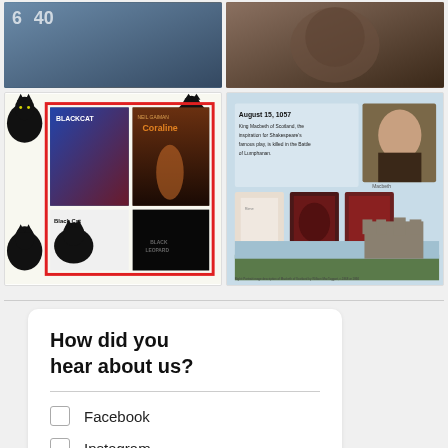[Figure (photo): Two image thumbnails at the top — left shows fantasy/gaming scene, right shows a portrait-style image]
[Figure (photo): Left card: collage of black cats with book covers including Black Cat, Coraline, and The Black Leopard, with a red rectangle overlay]
[Figure (infographic): Right card: August 15, 1057 infographic about King Macbeth of Scotland, with portrait, Macbeth play imagery and a castle photo]
How did you hear about us?
Facebook
Instagram